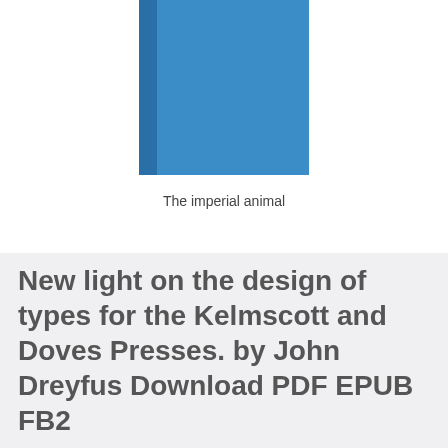[Figure (illustration): Book cover image showing a blue book with a darker spine on the left side and a lighter blue face, rendered as a simple flat graphic.]
The imperial animal
New light on the design of types for the Kelmscott and Doves Presses. by John Dreyfus Download PDF EPUB FB2